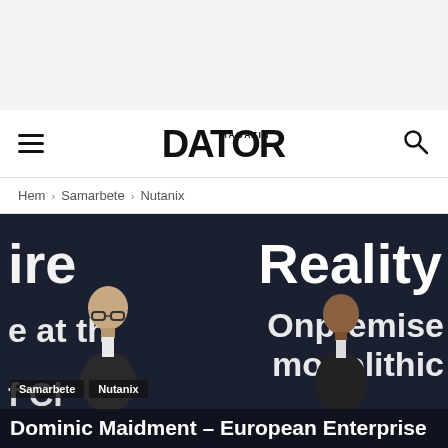[Figure (photo): Top banner/advertisement area, light grey background]
DATORMAGAZIN — navigation bar with hamburger menu, logo, and search icon
Hem › Samarbete › Nutanix
[Figure (photo): Hero image with dark blue background showing two people on stage. Large text: 'ire', 'Reality', 'e at the', 'Onpremise', 'f Cl', 'monolithic'. Two figures visible on stage.]
Samarbete
Nutanix
Dominic Maidment – European Enterprise